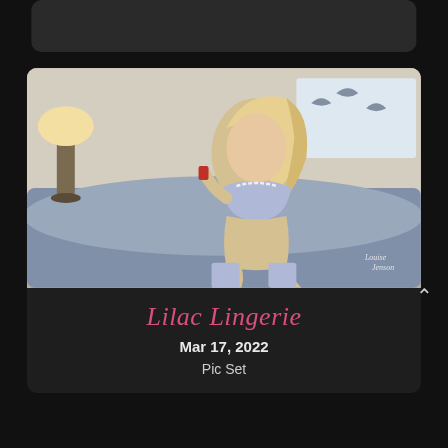[Figure (photo): Partial view of a dark card element at the top of the page, truncated]
[Figure (photo): Photo of a blonde woman in lilac lingerie posing on a grey sofa, with a lamp in the background; watermark reads 'Louise Jenson' in cursive]
Lilac Lingerie
Mar 17, 2022
Pic Set